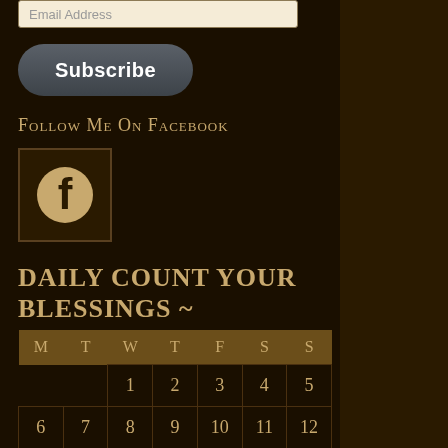Email Address
Subscribe
Follow Me On Facebook
[Figure (logo): Facebook logo icon — circular orange/tan background with dark letter f]
DAILY COUNT YOUR BLESSINGS ~
| M | T | W | T | F | S | S |
| --- | --- | --- | --- | --- | --- | --- |
|  |  | 1 | 2 | 3 | 4 | 5 |
| 6 | 7 | 8 | 9 | 10 | 11 | 12 |
| 13 | 14 | 15 | 16 | 17 | 18 | 19 |
| 20 | 21 | 22 | 23 | 24 | 25 | 26 |